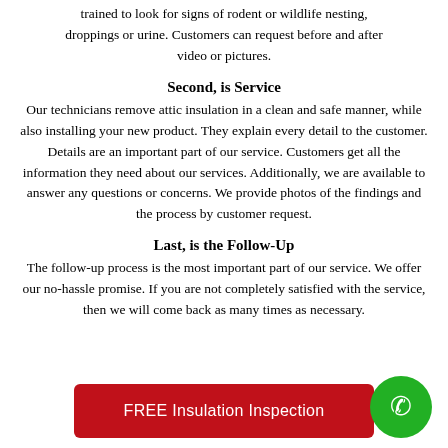trained to look for signs of rodent or wildlife nesting, droppings or urine. Customers can request before and after video or pictures.
Second, is Service
Our technicians remove attic insulation in a clean and safe manner, while also installing your new product. They explain every detail to the customer. Details are an important part of our service. Customers get all the information they need about our services. Additionally, we are available to answer any questions or concerns. We provide photos of the findings and the process by customer request.
Last, is the Follow-Up
The follow-up process is the most important part of our service. We offer our no-hassle promise. If you are not completely satisfied with the service, then we will come back as many times as necessary.
FREE Insulation Inspection